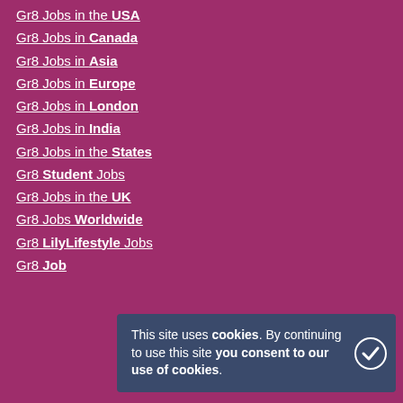Gr8 Jobs in the USA
Gr8 Jobs in Canada
Gr8 Jobs in Asia
Gr8 Jobs in Europe
Gr8 Jobs in London
Gr8 Jobs in India
Gr8 Jobs in the States
Gr8 Student Jobs
Gr8 Jobs in the UK
Gr8 Jobs Worldwide
Gr8 LilyLifestyle Jobs
Gr8 Jobs
This site uses cookies. By continuing to use this site you consent to our use of cookies.